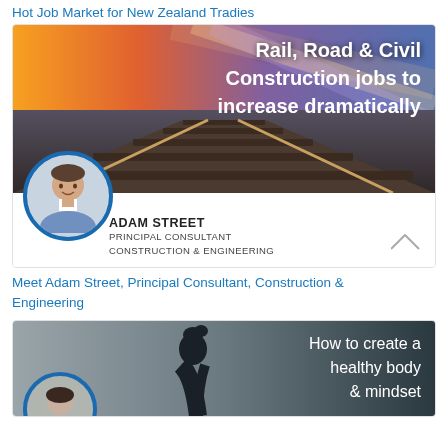Hot Job Market for New Zealand Tradies
[Figure (illustration): Rail tracks receding into the distance with orange sunset sky and purple gradient. Text overlay: 'Rail, Road & Civil Construction jobs to increase dramatically'. Profile photo of Adam Street in blue circle frame. Person info: ADAM STREET, PRINCIPAL CONSULTANT, CONSTRUCTION & ENGINEERING.]
Meet Adam Street, Principal Consultant, Construction & Engineering
[Figure (illustration): Dark-toned image of a person in silhouette with text overlay: 'How to create a healthy body & mindset'. Partially visible profile photo in blue circle frame at bottom left.]